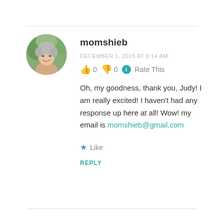[Figure (photo): Circular avatar photo of an older woman with short gray hair, smiling, outdoors with green background.]
momshieb
DECEMBER 1, 2015 AT 6:14 AM
👍 0 👎 0 ℹ Rate This
Oh, my goodness, thank you, Judy! I am really excited! I haven't had any response up here at all! Wow! my email is momshieb@gmail.com
★ Like
REPLY